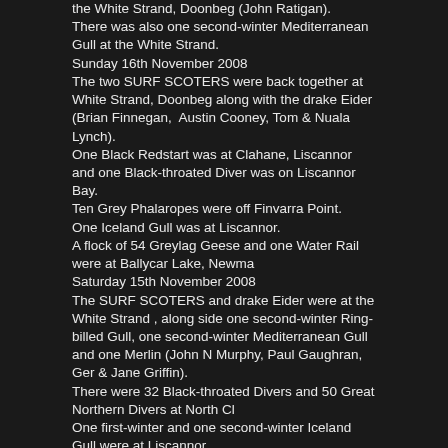the White Strand, Doonbeg (John Ratigan).
There was also one second-winter Mediterranean Gull at the White Strand.
Sunday 16th November 2008
The two SURF SCOTERS were back together at White Strand, Doonbeg along with the drake Eider (Brian Finnegan, Austin Cooney, Tom & Nuala Lynch).
One Black Redstart was at Clahane, Liscannor and one Black-throated Diver was on Liscannor Bay.
Ten Grey Phalaropes were off Finvarra Point.
One Iceland Gull was at Liscannor.
A flock of 54 Greylag Geese and one Water Rail were at Ballycar Lake, Newma…
Saturday 15th November 2008
The SURF SCOTERS and drake Eider were at the White Strand , along side one second-winter Ring-billed Gull, one second-winter Mediterranean Gull and one Merlin (John N Murphy, Paul Gaughran, Ger & Jane Griffin).
There were 32 Black-throated Divers and 50 Great Northern Divers at North Cl…
One first-winter and one second-winter Iceland Gull were at Liscannor.
One adult Green Sandpiper was at the attenuation pond near Manusmore, Cla…
One first-winter Glaucous Gull and 16 Great Northern Divers were at Seafield, …
There were 180 Barnacle Geese on Mutton Island.
A flock of 56 Whooper Swans were at Ballygireen, Newmarket-on-Fergus.
Two Woodcock were at Applewood, Ballycar, Newmarket-on-Fergus.
There were 200 Golden Plover at the Skivileen River, Doonbeg.
One male Blackcap was at Willow Park, Ennis.
Four Little Egrets were at Bishops Quarter.
Friday 14th November 2008
The WATER BIRD was still at Clahane, Liscannor (John N Murphy)…